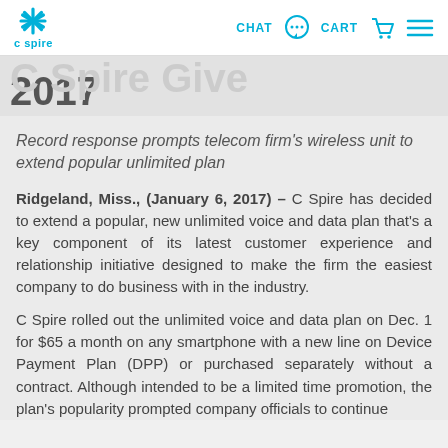C Spire  CHAT  CART
2017
Record response prompts telecom firm's wireless unit to extend popular unlimited plan
Ridgeland, Miss., (January 6, 2017) – C Spire has decided to extend a popular, new unlimited voice and data plan that's a key component of its latest customer experience and relationship initiative designed to make the firm the easiest company to do business with in the industry.
C Spire rolled out the unlimited voice and data plan on Dec. 1 for $65 a month on any smartphone with a new line on Device Payment Plan (DPP) or purchased separately without a contract. Although intended to be a limited time promotion, the plan's popularity prompted company officials to continue